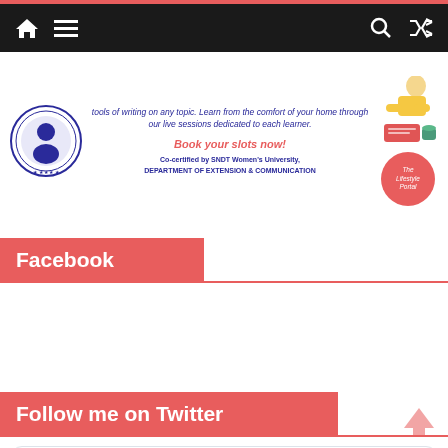Navigation bar with home, menu, search, and shuffle icons
[Figure (infographic): Advertisement banner: text about writing tools from home with live sessions, SNDT Women's University logos, 'Book your slots now!' in red, 'Co-certified by SNDT Women's University, DEPARTMENT OF EXTENSION & COMMUNICATION', The Lifestyle Portal circle logo, and illustration of person writing]
Facebook
Follow me on Twitter
Tweets from @tanyamunshi1
The Lifestyle P... @tanyamu... · Jul 24
Nithya has been among the sincerest students